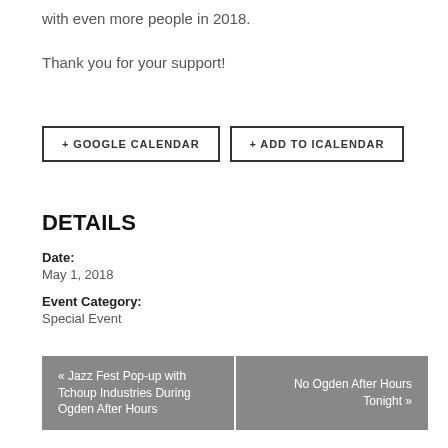with even more people in 2018.
Thank you for your support!
+ GOOGLE CALENDAR
+ ADD TO ICALENDAR
DETAILS
Date:
May 1, 2018
Event Category:
Special Event
« Jazz Fest Pop-up with Tchoup Industries During Ogden After Hours
No Ogden After Hours Tonight »